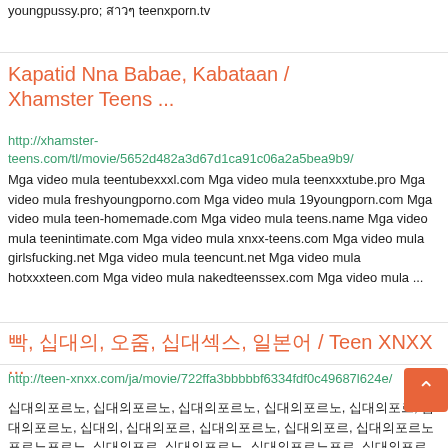youngpussy.pro; สาวๆ teenxporn.tv
Kapatid Nna Babae, Kabataan / Xhamster Teens ...
http://xhamster-teens.com/tl/movie/5652d482a3d67d1ca91c06a2a5bea9b9/
Mga video mula teentubexxxl.com Mga video mula teenxxxtube.pro Mga video mula freshyoungporno.com Mga video mula 19youngporn.com Mga video mula teen-homemade.com Mga video mula teens.name Mga video mula teenintimate.com Mga video mula xnxx-teens.com Mga video mula girlsfucking.net Mga video mula teencunt.net Mga video mula hotxxxteen.com Mga video mula nakedteenssex.com Mga video mula ...
빡, 십대의, 오줌, 십대섹스, 일본어 / Teen XNXX ...
http://teen-xnxx.com/ja/movie/722ffa3bbbbbf6334fdf0c49687l624e/
십대의포르노, 십대의포르노, 십대의포르노, 십대의포르노, 십대의포르, 십대의포르노, 십대의, 십대의포르, 십대의포르노, 십대의포르, 십대의포르노포르노포르노, 십대의포르, 십대의포르노, 십대의포르노포르, 십대의포르 ...